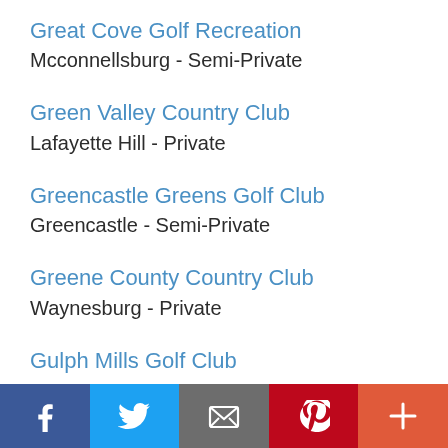Great Cove Golf Recreation
Mcconnellsburg - Semi-Private
Green Valley Country Club
Lafayette Hill - Private
Greencastle Greens Golf Club
Greencastle - Semi-Private
Greene County Country Club
Waynesburg - Private
Gulph Mills Golf Club